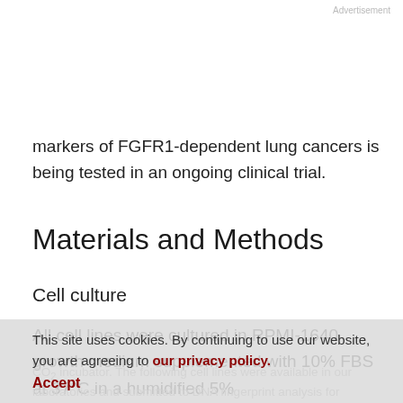Advertisement
markers of FGFR1-dependent lung cancers is being tested in an ongoing clinical trial.
Materials and Methods
Cell culture
All cell lines were cultured in RPMI-1640 growth medium supplemented with 10% FBS at 37°C in a humidified 5%
CO2 incubator. The following cell lines were available in our laboratories and submitted to DNA fingerprint analysis for authentication: H1703, HCC95, NE-18, DMS-114, SK-MES-1, H460, SW1573, H520, H661, H125, HCC44
This site uses cookies. By continuing to use our website, you are agreeing to our privacy policy.
Accept